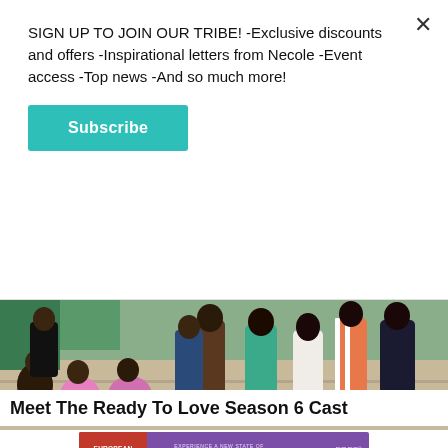SIGN UP TO JOIN OUR TRIBE! -Exclusive discounts and offers -Inspirational letters from Necole -Event access -Top news -And so much more!
Subscribe
[Figure (photo): Group photo of the Ready To Love Season 6 cast posing on outdoor stone steps in colorful vacation/beach outfits]
Meet The Ready To Love Season 6 Cast
[Figure (infographic): European Wax Center advertisement: 'Experience a New State of smooth' - First Wax free, Book Now]